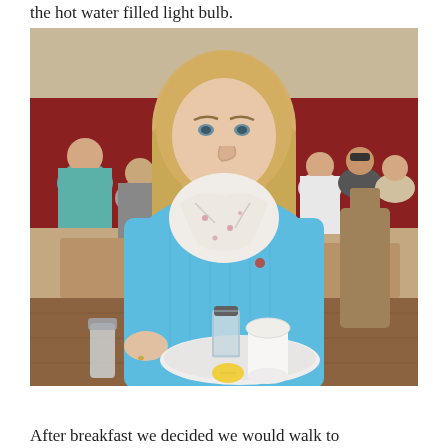the hot water filled light bulb.
[Figure (photo): A young blonde woman wearing a light blue sweater and a white floral scarf sits at a restaurant table. On the table is a plate with a glass sugar dispenser and a white cup. Other diners are visible in the background in a warm restaurant setting with red walls.]
After breakfast we decided we would walk to